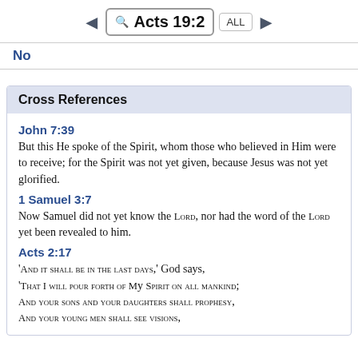Acts 19:2
No
Cross References
John 7:39
But this He spoke of the Spirit, whom those who believed in Him were to receive; for the Spirit was not yet given, because Jesus was not yet glorified.
1 Samuel 3:7
Now Samuel did not yet know the LORD, nor had the word of the LORD yet been revealed to him.
Acts 2:17
'AND IT SHALL BE IN THE LAST DAYS,' God says, 'THAT I WILL POUR FORTH OF MY SPIRIT ON ALL MANKIND; AND YOUR SONS AND YOUR DAUGHTERS SHALL PROPHESY, AND YOUR YOUNG MEN SHALL SEE VISIONS,